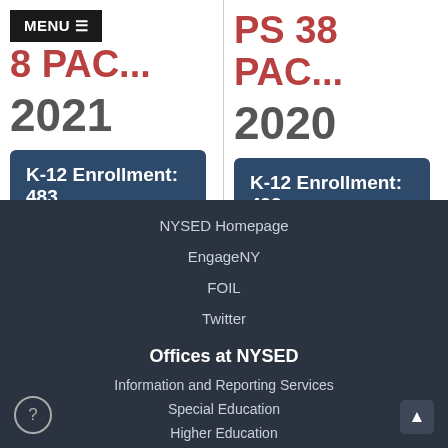MENU
PS 38 PAC... 2021
PS 38 PAC... 2020
K-12 Enrollment: 483
K-12 Enrollment: 499
NYSED Homepage
EngageNY
FOIL
Twitter
Offices at NYSED
Information and Reporting Services
Special Education
Higher Education